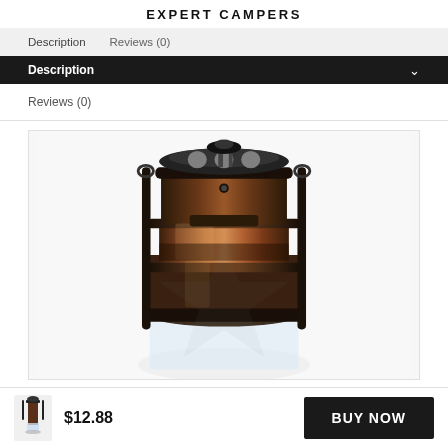EXPERT CAMPERS
Description   Reviews (0)
Description
Reviews (0)
[Figure (photo): Close-up photo of the top portion of a vintage-style oil/kerosene lantern with bronze/copper and black metal finish, showing the burner cap, vents, and glass globe base]
$12.88
BUY NOW